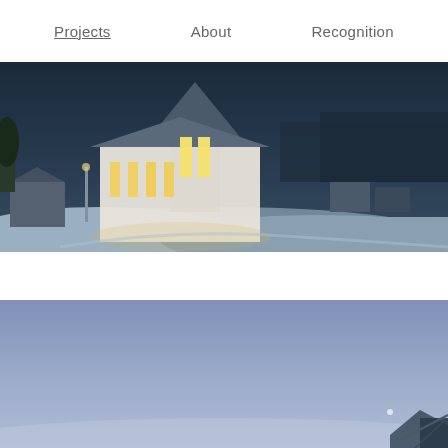Projects   About   Recognition
[Figure (photo): Nighttime winter photograph of a white church building with glowing tall windows, surrounded by snow, with dark blue sky and trees in background]
[Figure (photo): Dusk/twilight photograph showing a pale blue sky with a sliver of moon visible, and the edge of a building structure at bottom right corner]